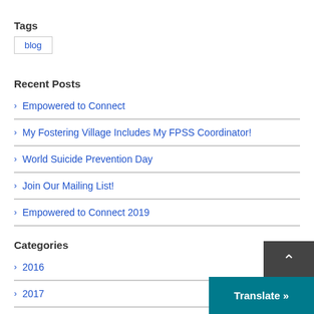Tags
blog
Recent Posts
Empowered to Connect
My Fostering Village Includes My FPSS Coordinator!
World Suicide Prevention Day
Join Our Mailing List!
Empowered to Connect 2019
Categories
2016
2017